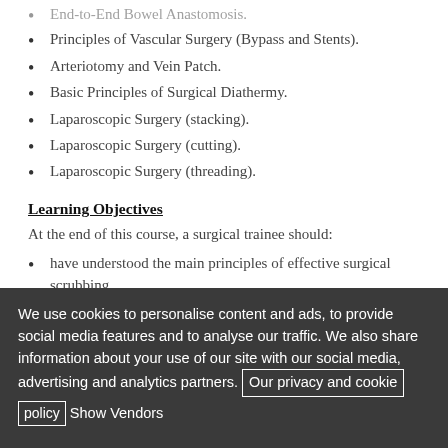End-to-End Bowel Anastomosis.
Principles of Vascular Surgery (Bypass and Stents).
Arteriotomy and Vein Patch.
Basic Principles of Surgical Diathermy.
Laparoscopic Surgery (stacking).
Laparoscopic Surgery (cutting).
Laparoscopic Surgery (threading).
Learning Objectives
At the end of this course, a surgical trainee should:
have understood the main principles of effective surgical scrubbing.
have appreciated the importance of aseptic precautions in surgery.
be able to gown in a correct manner.
be able to carry out the closed method of gloving.
We use cookies to personalise content and ads, to provide social media features and to analyse our traffic. We also share information about your use of our site with our social media, advertising and analytics partners. Our privacy and cookie policy Show Vendors